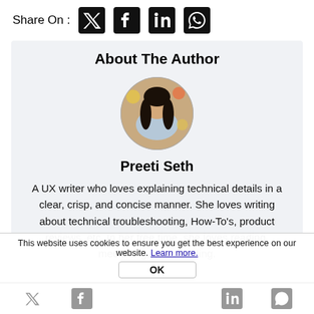Share On :
[Figure (other): Share On bar with Twitter, Facebook, LinkedIn, WhatsApp icons]
About The Author
[Figure (photo): Circular profile photo of Preeti Seth]
Preeti Seth
A UX writer who loves explaining technical details in a clear, crisp, and concise manner. She loves writing about technical troubleshooting, How-To's, product reviews, etc. In her free time, she loves reading, meditating, and traveling.
This website uses cookies to ensure you get the best experience on our website. Learn more.
OK